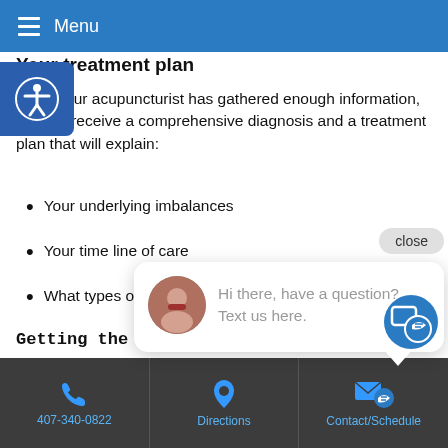Menu
Your treatment plan
Once your acupuncturist has gathered enough information, you will receive a comprehensive diagnosis and a treatment plan that will explain:
Your underlying imbalances
Your time line of care
What types of treatment you will receive
Getting the most out of treatment
For the best treatm...
Please show...
Don't eat a large meal before...
[Figure (screenshot): Chat widget popup with avatar photo of a woman and text: Hi there, have a question? Text us here. Close button visible.]
407-340-0822  Directions  Contact/Schedule